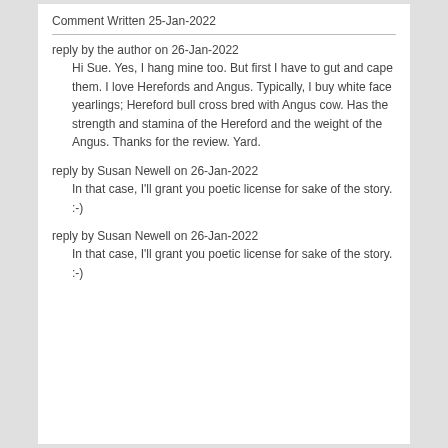Comment Written 25-Jan-2022
reply by the author on 26-Jan-2022
Hi Sue. Yes, I hang mine too. But first I have to gut and cape them. I love Herefords and Angus. Typically, I buy white face yearlings; Hereford bull cross bred with Angus cow. Has the strength and stamina of the Hereford and the weight of the Angus. Thanks for the review. Yard.
reply by Susan Newell on 26-Jan-2022
In that case, I'll grant you poetic license for sake of the story. :-)
reply by Susan Newell on 26-Jan-2022
In that case, I'll grant you poetic license for sake of the story. :-)